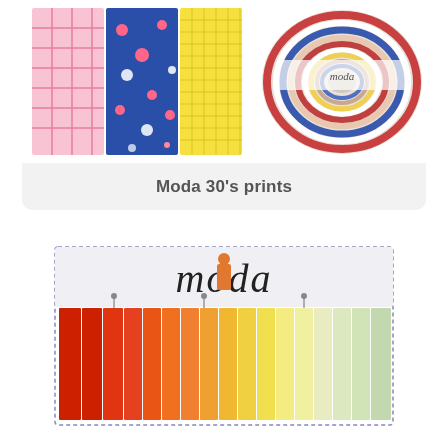[Figure (photo): Fabric swatches showing pink plaid, blue floral, yellow grid patterns and a rolled jelly roll of mixed fabrics]
Moda 30's prints
[Figure (photo): Moda brand logo with colorful fabric bolts arranged in a rainbow gradient from red to yellow-green]